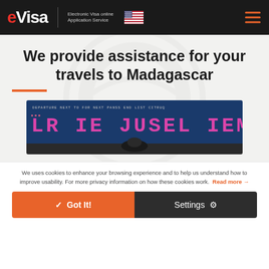eVisa Electronic Visa online Application Service
We provide assistance for your travels to Madagascar
[Figure (photo): Airport departure board with flight information displayed in pink/red LED text on blue background, with a person's head silhouetted at the bottom.]
We uses cookies to enhance your browsing experience and to help us understand how to improve usability. For more privacy information on how these cookies work. Read more →
✓ Got It!
Settings ⚙